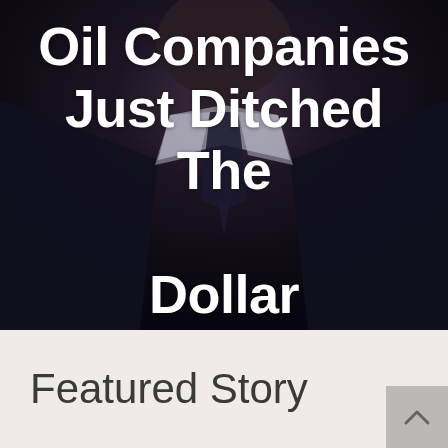[Figure (photo): Dark background image of a man in a suit and tie, partially cropped showing torso and neck area. White bold text overlaid reads 'Oil Companies Just Ditched The Dollar'.]
Oil Companies Just Ditched The Dollar
Featured Story